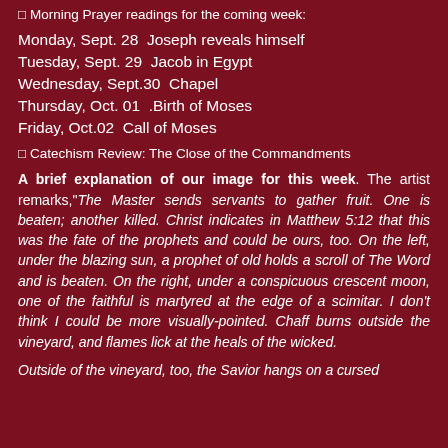Morning Prayer readings for the coming week:
Monday, Sept. 28  Joseph reveals himself
Tuesday, Sept. 29  Jacob in Egypt
Wednesday, Sept.30  Chapel
Thursday, Oct. 01  .Birth of Moses
Friday, Oct.02  Call of Moses
Catechism Review: The Close of the Commandments
A brief explanation of our image for this week. The artist remarks,"The Master sends servants to gather fruit. One is beaten; another killed. Christ indicates in Matthew 5:12 that this was the fate of the prophets and could be ours, too. On the left, under the blazing sun, a prophet of old holds a scroll of The Word and is beaten. On the right, under a conspicuous crescent moon, one of the faithful is martyred at the edge of a scimitar. I don't think I could be more visually-pointed. Chaff burns outside the vineyard, and flames lick at the heals of the wicked.
Outside of the vineyard, too, the Savior hangs on a cursed